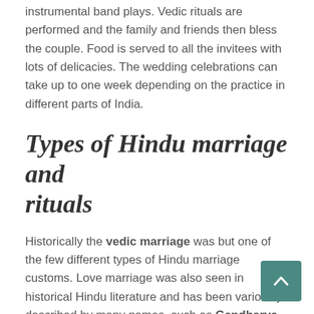instrumental band plays. Vedic rituals are performed and the family and friends then bless the couple. Food is served to all the invitees with lots of delicacies. The wedding celebrations can take up to one week depending on the practice in different parts of India.
Types of Hindu marriage and rituals
Historically the vedic marriage was but one of the few different types of Hindu marriage customs. Love marriage was also seen in historical Hindu literature and has been variously described by many names, such as Gandharva vivaha. In certain poor vaishnav communities there is still a custom called kanthi-badal which is an exchange of bead-garlands as a very simplified form of ritual in solitude in front of an idol of